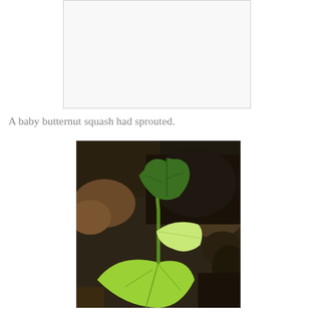[Figure (photo): White/blank image box at the top of the page, partially visible, appears to be a cropped photo placeholder with light gray border]
A baby butternut squash had sprouted.
[Figure (photo): Close-up photograph of a baby butternut squash seedling sprouting from dark soil, showing green lobed leaves on a green stem against dark earth background]